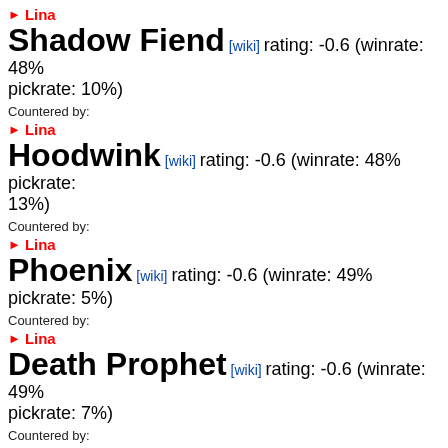▶ Lina
Shadow Fiend [wiki] rating: -0.6 (winrate: 48% pickrate: 10%)
Countered by:
▶ Lina
Hoodwink [wiki] rating: -0.6 (winrate: 48% pickrate: 13%)
Countered by:
▶ Lina
Phoenix [wiki] rating: -0.6 (winrate: 49% pickrate: 5%)
Countered by:
▶ Lina
Death Prophet [wiki] rating: -0.6 (winrate: 49% pickrate: 7%)
Countered by:
▶ Lina
Leshrac [wiki] rating: -0.6 (winrate: 49% pickrate: 3%)